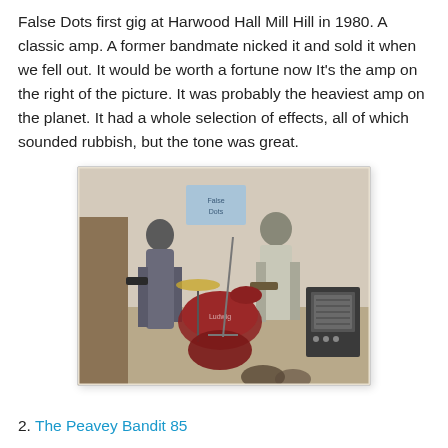False Dots first gig at Harwood Hall Mill Hill in 1980. A classic amp. A former bandmate nicked it and sold it when we fell out. It would be worth a fortune now It's the amp on the right of the picture. It was probably the heaviest amp on the planet. It had a whole selection of effects, all of which sounded rubbish, but the tone was great.
[Figure (photo): Black and white / sepia-toned vintage photograph of a band performing on stage. Two guitarists are visible in the foreground, with a drum kit in the background. A handwritten sign is visible on the wall behind them. An amplifier is visible on the right side of the image.]
2. The Peavey Bandit 85
I bought this amp in Denmark Street, mainly because I was